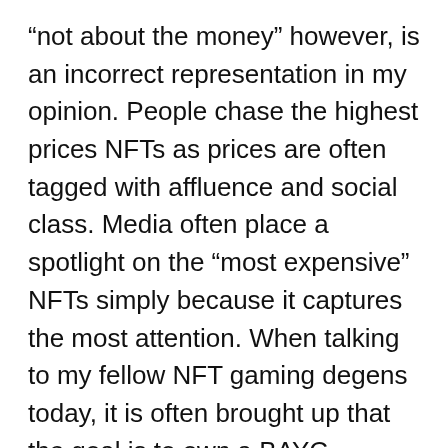“not about the money” however, is an incorrect representation in my opinion. People chase the highest prices NFTs as prices are often tagged with affluence and social class. Media often place a spotlight on the “most expensive” NFTs simply because it captures the most attention. When talking to my fellow NFT gaming degens today, it is often brought up that the goal is to own a BAYC ultimately. People work their way up to a BAYC because it brings “title” or “class status” to an individual, and in this case, IP commercial rights for them to start a business. Some people get it because it gives them the limelight, or the ability to flaunt it. Yes, this shows that BAYC has established its level community, brand identity and marked its